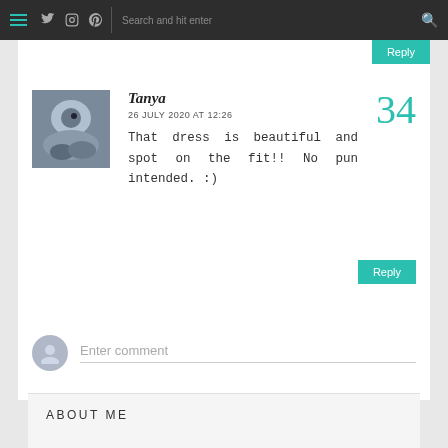Navigation bar with hamburger menu, social icons (Twitter, Instagram, Pinterest), search field
Reply
[Figure (photo): Avatar photo of commenter Tanya showing a dark bowl/cup with what appears to be food or liquid]
Tanya
26 JULY 2020 AT 12:26
That dress is beautiful and spot on the fit!! No pun intended. :)
34
Reply
Enter comment
ABOUT ME